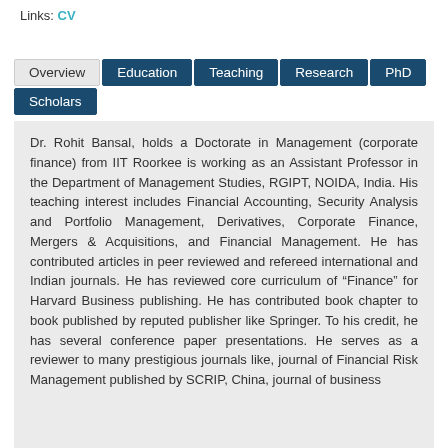Links: CV
Overview | Education | Teaching | Research | PhD Scholars
Dr. Rohit Bansal, holds a Doctorate in Management (corporate finance) from IIT Roorkee is working as an Assistant Professor in the Department of Management Studies, RGIPT, NOIDA, India. His teaching interest includes Financial Accounting, Security Analysis and Portfolio Management, Derivatives, Corporate Finance, Mergers & Acquisitions, and Financial Management. He has contributed articles in peer reviewed and refereed international and Indian journals. He has reviewed core curriculum of “Finance” for Harvard Business publishing. He has contributed book chapter to book published by reputed publisher like Springer. To his credit, he has several conference paper presentations. He serves as a reviewer to many prestigious journals like, journal of Financial Risk Management published by SCRIP, China, journal of business